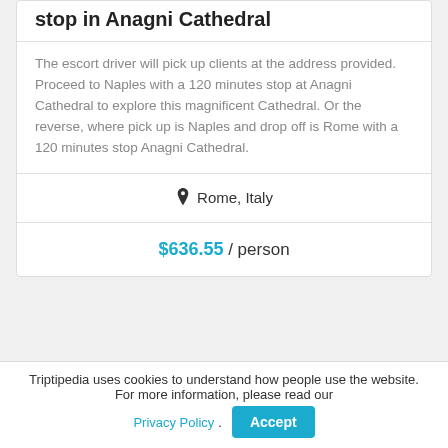stop in Anagni Cathedral
The escort driver will pick up clients at the address provided. Proceed to Naples with a 120 minutes stop at Anagni Cathedral to explore this magnificent Cathedral. Or the reverse, where pick up is Naples and drop off is Rome with a 120 minutes stop Anagni Cathedral.
Rome, Italy
$636.55 / person
Triptipedia uses cookies to understand how people use the website. For more information, please read our Privacy Policy.